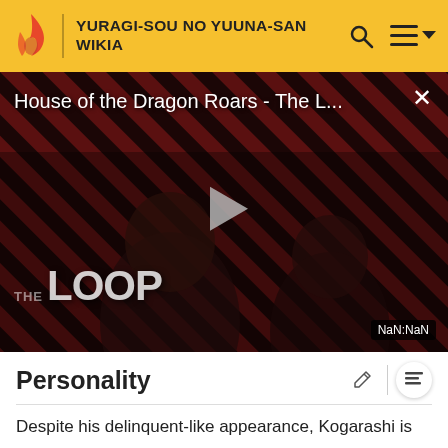YURAGI-SOU NO YUUNA-SAN WIKIA
[Figure (screenshot): Video player thumbnail showing 'House of the Dragon Roars - The L...' with a play button, THE LOOP branding, dark background with diagonal stripe pattern, close button X, and NaN:NaN time badge]
Personality
Despite his delinquent-like appearance, Kogarashi is normally seen rather calm, serious and collected. However, he easily gets flustered when put in perverted